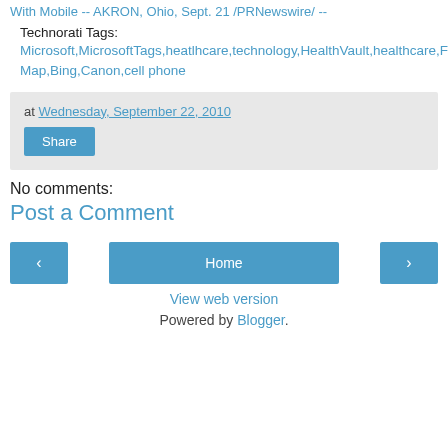With Mobile -- AKRON, Ohio, Sept. 21 /PRNewswire/ --
Technorati Tags: Microsoft,MicrosoftTags,heatlhcare,technology,HealthVault,healthcare,FDA,safety,RFID,EHR,PHR,Surface,Heat Map,Bing,Canon,cell phone
at Wednesday, September 22, 2010
Share
No comments:
Post a Comment
‹
Home
›
View web version
Powered by Blogger.